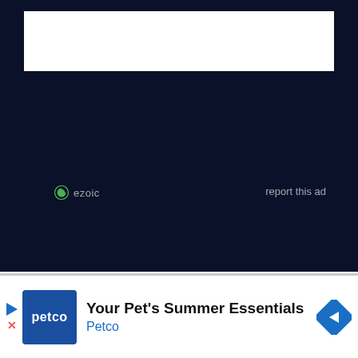[Figure (other): Dark navy blue background area with a white rectangular placeholder box at the top (ad slot)]
ezoic
report this ad
[Figure (other): Petco advertisement banner: Petco logo (blue square with white 'petco' text), headline 'Your Pet's Summer Essentials', brand name 'Petco', navigation arrow icon on the right, close button top right, play/skip controls on left]